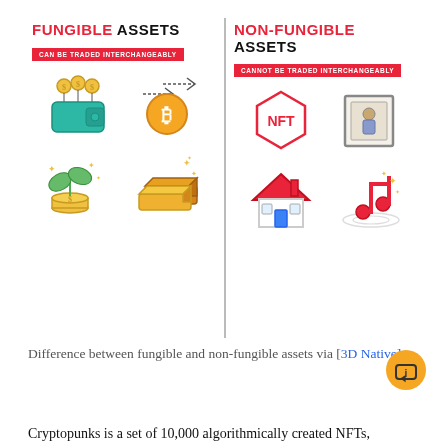[Figure (infographic): Side-by-side comparison of Fungible Assets vs Non-Fungible Assets. Left side shows 'FUNGIBLE ASSETS' with subtitle 'CAN BE TRADED INTERCHANGEABLY' and four icons: a wallet with coins, a bitcoin coin with arrow, coins with a plant, and gold bars. Right side shows 'NON-FUNGIBLE ASSETS' with subtitle 'CANNOT BE TRADED INTERCHANGEABLY' and four icons: an NFT hexagon badge, a framed painting, a house, and a music note.]
Difference between fungible and non-fungible assets via [3D Native]
Cryptopunks is a set of 10,000 algorithmically created NFTs,